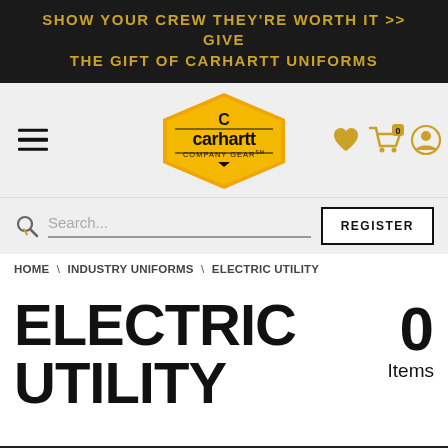SHOW YOUR CREW THEY'RE WORTH IT >> GIVE THE GIFT OF CARHARTT UNIFORMS
[Figure (logo): Carhartt Company Gear logo in a yellow hexagonal badge with black text and Carhartt 'C' emblem]
Search...
REGISTER
HOME \ INDUSTRY UNIFORMS \ ELECTRIC UTILITY
ELECTRIC UTILITY
0 Items